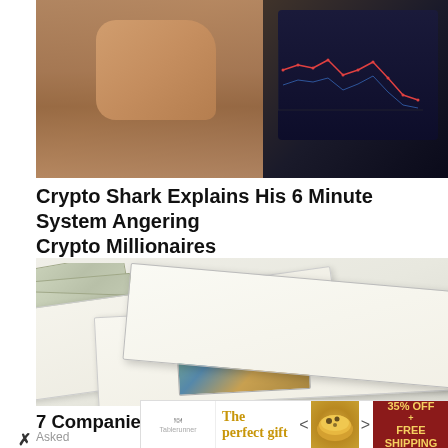[Figure (photo): Man with hand on face looking stressed, with stock market chart on screen in background]
Crypto Shark Explains His 6 Minute System Angering Crypto Millionaires
6 Minute System
[Figure (photo): White envelopes with $100 bills on wooden table]
7 Companies That Send People Money When They're Asked
The Perfect gift - 35% OFF + FREE SHIPPING